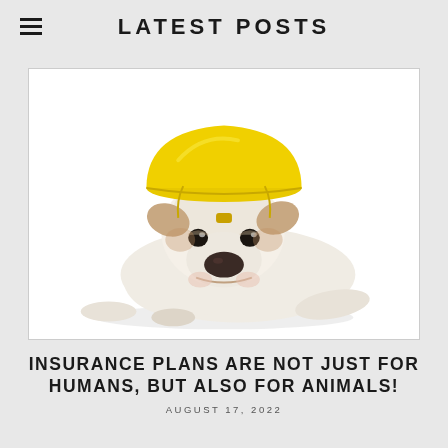LATEST POSTS
[Figure (photo): An English bulldog puppy wearing a yellow construction hard hat, lying down with its chin near the floor on a white background.]
INSURANCE PLANS ARE NOT JUST FOR HUMANS, BUT ALSO FOR ANIMALS!
AUGUST 17, 2022